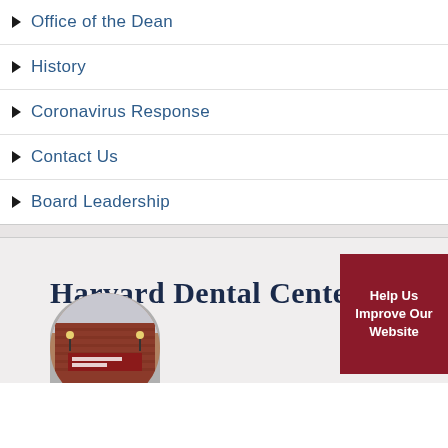Office of the Dean
History
Coronavirus Response
Contact Us
Board Leadership
Harvard Dental Center
Help Us Improve Our Website
[Figure (photo): Circular photo of Harvard Dental Center building exterior with red brick and signage]